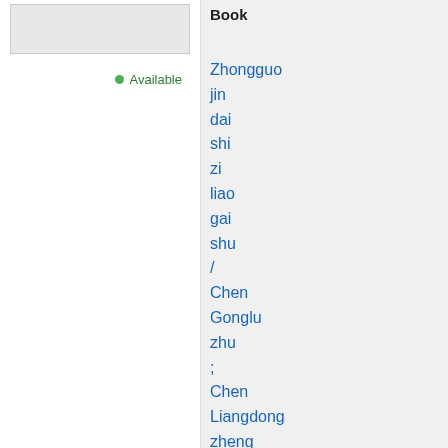Book
Available
Zhongguo jin dai shi zi liao gai shu / Chen Gonglu zhu ; Chen Liangdong zheng li
〔〕〔〕〔